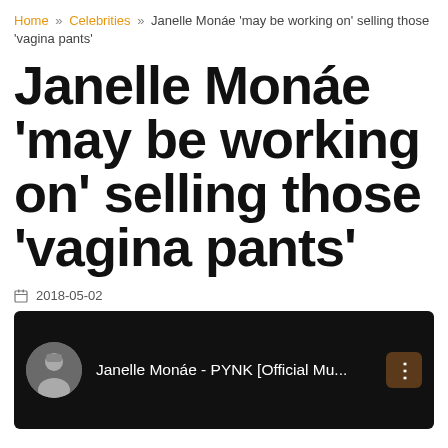Home » Celebrities » Janelle Monáe 'may be working on' selling those 'vagina pants'
Janelle Monáe 'may be working on' selling those 'vagina pants'
2018-05-02
[Figure (screenshot): Embedded video player showing Janelle Monáe - PYNK [Official Mu... with a circular thumbnail of a person and a menu icon on a dark background]